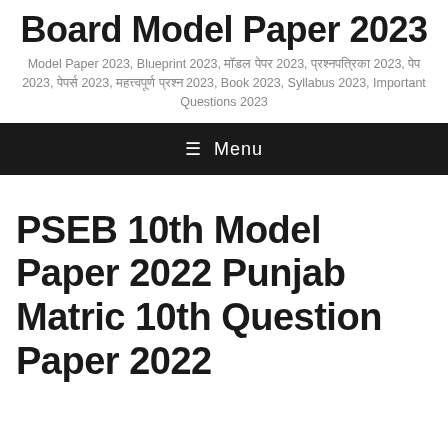Board Model Paper 2023
Model Paper 2023, Blueprint 2023, मॉडल पेपर 2023, प्रश्नपत्रिका 2023, पेप 2023, पेपर्स 2023, महत्त्वपूर्ण प्रश्न 2023, Book 2023, Syllabus 2023, Important Questions 2023
≡ Menu
PSEB 10th Model Paper 2022 Punjab Matric 10th Question Paper 2022